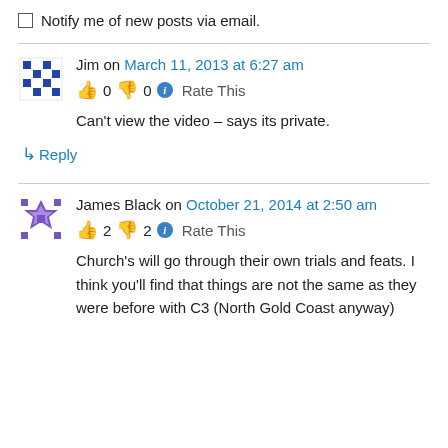Notify me of new posts via email.
Jim on March 11, 2013 at 6:27 am
👍 0 👎 0 ℹ Rate This
Can't view the video – says its private.
↳ Reply
James Black on October 21, 2014 at 2:50 am
👍 2 👎 2 ℹ Rate This
Church's will go through their own trials and feats. I think you'll find that things are not the same as they were before with C3 (North Gold Coast anyway)